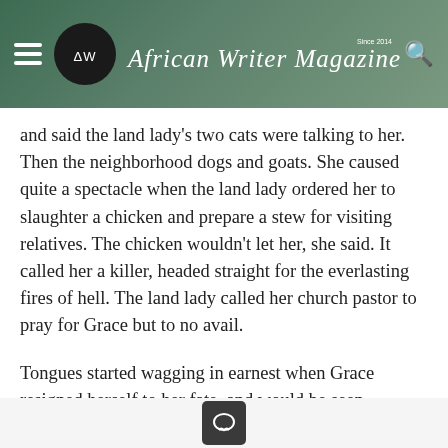African Writer Magazine — Since 2014
and said the land lady's two cats were talking to her. Then the neighborhood dogs and goats. She caused quite a spectacle when the land lady ordered her to slaughter a chicken and prepare a stew for visiting relatives. The chicken wouldn't let her, she said. It called her a killer, headed straight for the everlasting fires of hell. The land lady called her church pastor to pray for Grace but to no avail.
Tongues started wagging in earnest when Grace resigned herself to her fate, and would be seen standing by the roadside for hours having an animated conversation with a stray dog. The neighbours blamed the land lord. They said he had visited a witchdoctor in Mombasa and bought